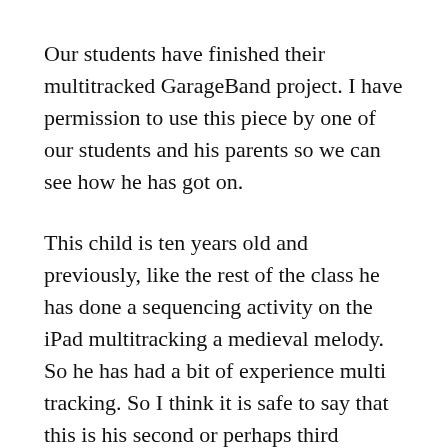Our students have finished their multitracked GarageBand project. I have permission to use this piece by one of our students and his parents so we can see how he has got on.
This child is ten years old and previously, like the rest of the class he has done a sequencing activity on the iPad multitracking a medieval melody. So he has had a bit of experience multi tracking. So I think it is safe to say that this is his second or perhaps third multitracked piece.
The task was to make a 24 bar multitracked piece of music with at least five different parts. Our students are which he did, he has done a